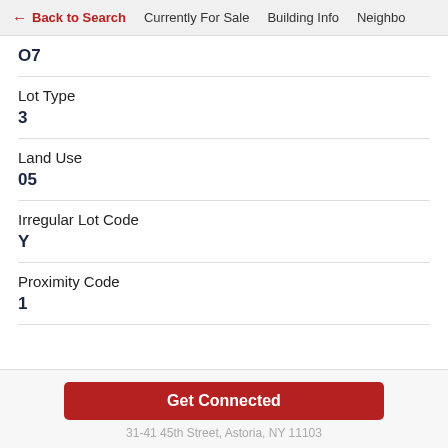← Back to Search   Currently For Sale   Building Info   Neighbo
O7
Lot Type
3
Land Use
05
Irregular Lot Code
Y
Proximity Code
1
Get Connected
31-41 45th Street, Astoria, NY 11103